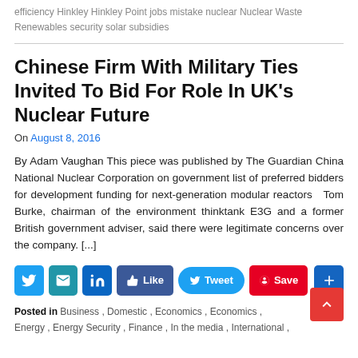efficiency Hinkley Hinkley Point jobs mistake nuclear Nuclear Waste Renewables security solar subsidies
Chinese Firm With Military Ties Invited To Bid For Role In UK’s Nuclear Future
On August 8, 2016
By Adam Vaughan This piece was published by The Guardian China National Nuclear Corporation on government list of preferred bidders for development funding for next-generation modular reactors   Tom Burke, chairman of the environment thinktank E3G and a former British government adviser, said there were legitimate concerns over the company. [...]
Posted in Business , Domestic , Economics , Economics , Energy , Energy Security , Finance , In the media , International ,